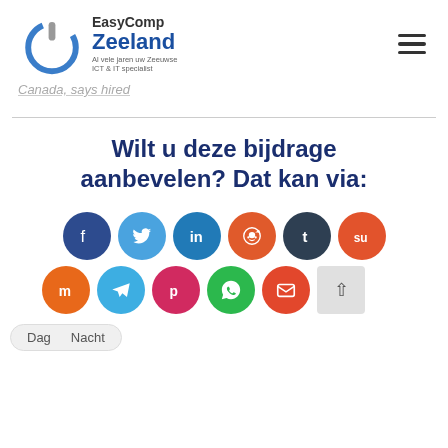[Figure (logo): EasyComp Zeeland logo with power button icon and text 'EasyComp Zeeland - Al vele jaren uw Zeeuwse ICT & IT specialist']
Canada, says hired
Wilt u deze bijdrage aanbevelen? Dat kan via:
[Figure (infographic): Row of social share buttons: Facebook, Twitter, LinkedIn, Reddit, Tumblr, StumbleUpon, Mix, Telegram, Pocket, WhatsApp, Email]
Dag  Nacht